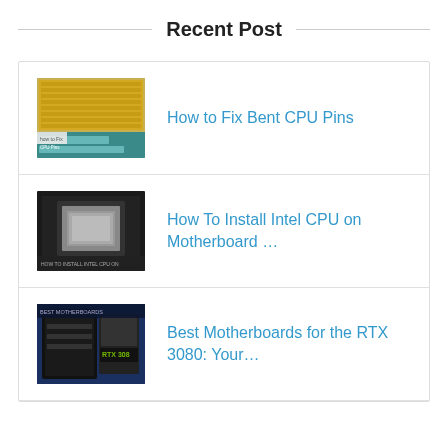Recent Post
How to Fix Bent CPU Pins
How To Install Intel CPU on Motherboard …
Best Motherboards for the RTX 3080: Your…